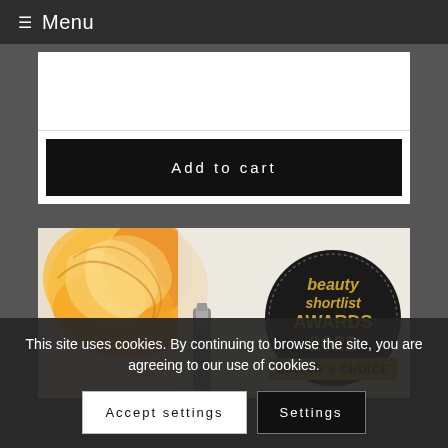≡ Menu
[Figure (screenshot): White product card area with empty space and 'Add to cart' button]
[Figure (photo): Product photo showing swirled orange/yellow cream on white background with a metal tool, and a circular Beauty Shortlist Awards 2022 Editor's Choice badge on the right side]
This site uses cookies. By continuing to browse the site, you are agreeing to our use of cookies.
Accept settings
Settings